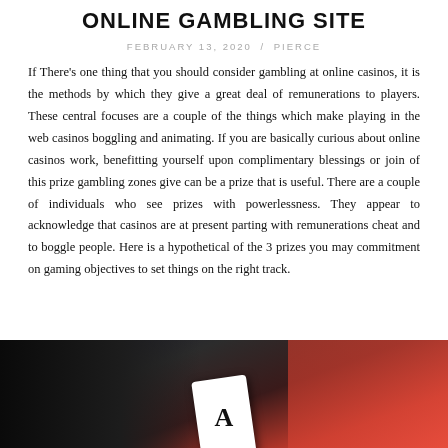ONLINE GAMBLING SITE
FEBRUARY 13, 2020  /  PIERCE
If There’s one thing that you should consider gambling at online casinos, it is the methods by which they give a great deal of remunerations to players. These central focuses are a couple of the things which make playing in the web casinos boggling and animating. If you are basically curious about online casinos work, benefitting yourself upon complimentary blessings or join of this prize gambling zones give can be a prize that is useful. There are a couple of individuals who see prizes with powerlessness. They appear to acknowledge that casinos are at present parting with remunerations cheat and to boggle people. Here is a hypothetical of the 3 prizes you may commitment on gaming objectives to set things on the right track.
[Figure (photo): Close-up photo of hands holding playing cards (ace visible) against a dark red background]